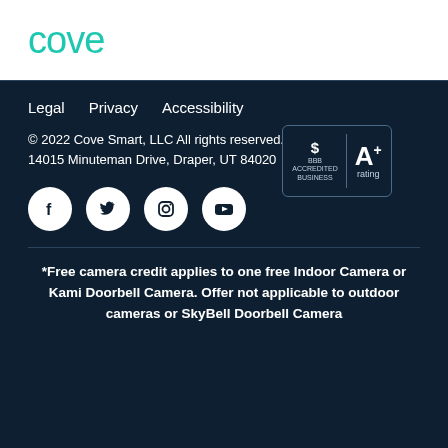[Figure (logo): Cove brand logo in teal/mint color]
Legal   Privacy   Accessibility
[Figure (other): BBB A+ rating badge]
© 2022 Cove Smart, LLC All rights reserved. | 14015 Minuteman Drive, Draper, UT 84020
[Figure (other): Social media icons: Facebook, Twitter, Instagram, YouTube]
*Free camera credit applies to one free Indoor Camera or Kami Doorbell Camera. Offer not applicable to outdoor cameras or SkyBell Doorbell Camera